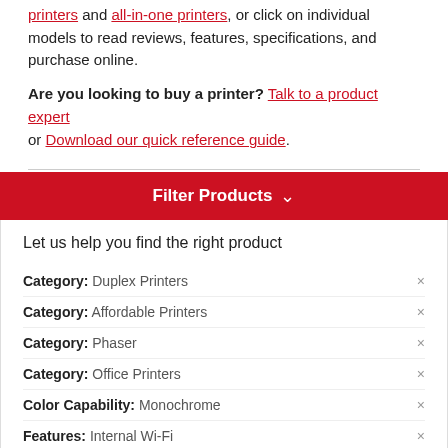printers and all-in-one printers, or click on individual models to read reviews, features, specifications, and purchase online.
Are you looking to buy a printer? Talk to a product expert or Download our quick reference guide.
Filter Products ∨
Let us help you find the right product
Category: Duplex Printers
Category: Affordable Printers
Category: Phaser
Category: Office Printers
Color Capability: Monochrome
Features: Internal Wi-Fi
Function: Print only